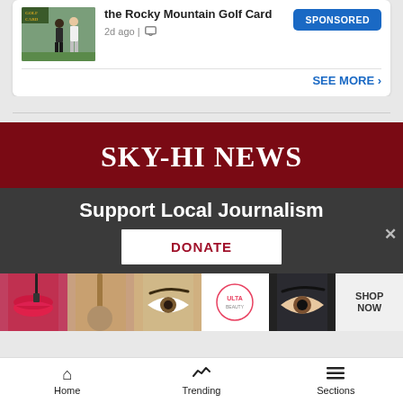the Rocky Mountain Golf Card
2d ago |
SPONSORED
SEE MORE ›
[Figure (logo): Sky-Hi News logo on dark red background]
Support Local Journalism
DONATE
[Figure (advertisement): Ulta Beauty makeup advertisement banner]
Home  Trending  Sections